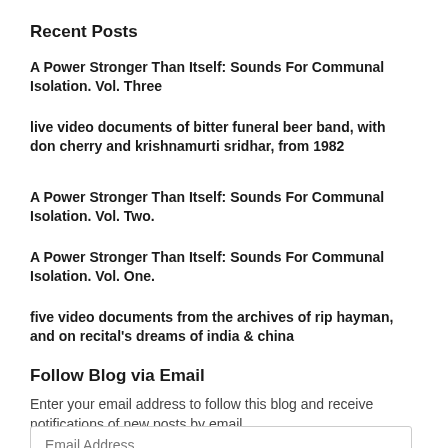Recent Posts
A Power Stronger Than Itself: Sounds For Communal Isolation. Vol. Three
live video documents of bitter funeral beer band, with don cherry and krishnamurti sridhar, from 1982
A Power Stronger Than Itself: Sounds For Communal Isolation. Vol. Two.
A Power Stronger Than Itself: Sounds For Communal Isolation. Vol. One.
five video documents from the archives of rip hayman, and on recital's dreams of india & china
Follow Blog via Email
Enter your email address to follow this blog and receive notifications of new posts by email.